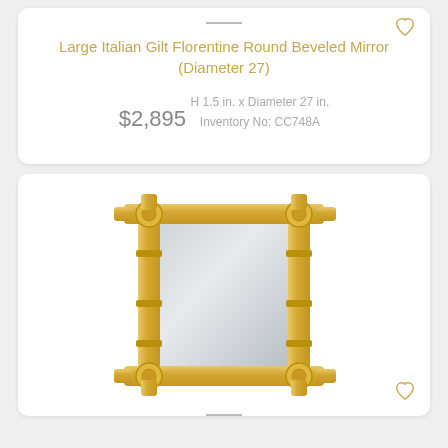Large Italian Gilt Florentine Round Beveled Mirror (Diameter 27)
$2,895
H 1.5 in. x Diameter 27 in.
Inventory No: CC748A
[Figure (photo): A rectangular mirror with a bamboo-style golden/yellow frame, featuring decorative joints at the corners and midpoints of the frame sides.]